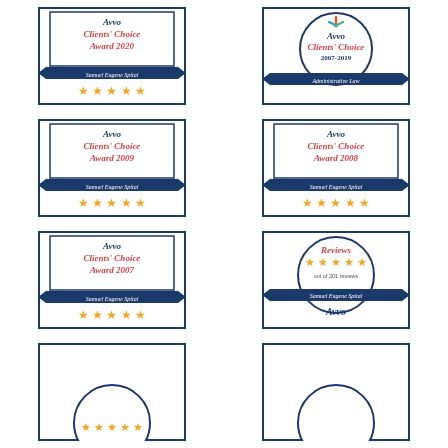[Figure (logo): Avvo Clients' Choice Award 2020 badge for Samuel Eugene Spital with 5 stars]
[Figure (logo): Avvo Clients' Choice 2007-2019 Administrative Law circular badge]
[Figure (logo): Avvo Clients' Choice Award 2009 badge for Samuel Eugene Spital with 5 stars]
[Figure (logo): Avvo Clients' Choice Award 2008 badge for Samuel Eugene Spital with 5 stars]
[Figure (logo): Avvo Clients' Choice Award 2007 badge for Samuel Eugene Spital with 5 stars]
[Figure (logo): Avvo Reviews 5 stars out of 201 reviews for Samuel Eugene Spital circular badge]
[Figure (logo): Partial Avvo badge at bottom left (cropped)]
[Figure (logo): Partial Avvo badge at bottom right (cropped)]